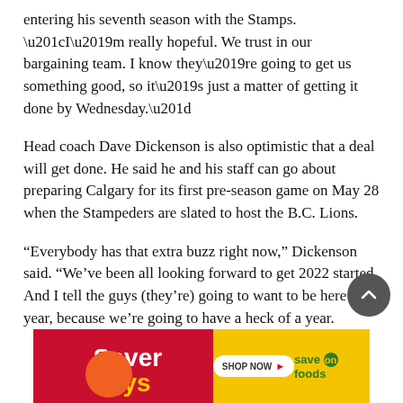entering his seventh season with the Stamps. “I’m really hopeful. We trust in our bargaining team. I know they’re going to get us something good, so it’s just a matter of getting it done by Wednesday.”
Head coach Dave Dickenson is also optimistic that a deal will get done. He said he and his staff can go about preparing Calgary for its first pre-season game on May 28 when the Stampeders are slated to host the B.C. Lions.
“Everybody has that extra buzz right now,” Dickenson said. “We’ve been all looking forward to get 2022 started. And I tell the guys (they’re) going to want to be here this year, because we’re going to have a heck of a year.
[Figure (other): Saver Days advertisement banner for Save On Foods with red and yellow background, Shop Now button, and Save On Foods logo]